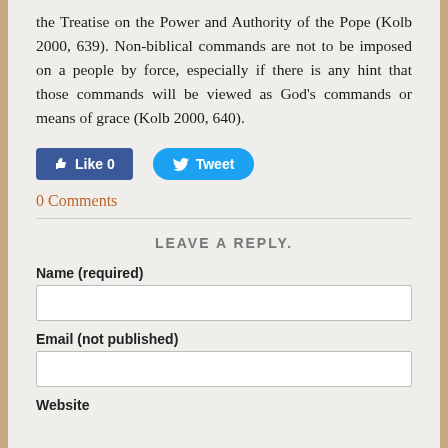the Treatise on the Power and Authority of the Pope (Kolb 2000, 639). Non-biblical commands are not to be imposed on a people by force, especially if there is any hint that those commands will be viewed as God's commands or means of grace (Kolb 2000, 640).
[Figure (screenshot): Social media buttons: Facebook Like button showing 0 likes, and a Twitter Tweet button]
0 Comments
LEAVE A REPLY.
Name (required)
Email (not published)
Website